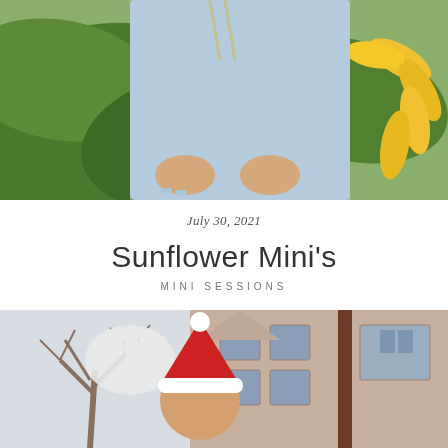[Figure (photo): Photo of a person in a light blue denim shirt standing among large green sunflower leaves with a bright yellow sunflower visible on the right side. The person's torso and hands are visible, with light blue painted fingernails.]
July 30, 2021
Sunflower Mini's
MINI SESSIONS
[Figure (photo): Photo of a person wearing a red Santa hat and white gloves, waving at the camera. The background shows a bare tree and a brick school building with windows. The scene appears to be in winter.]